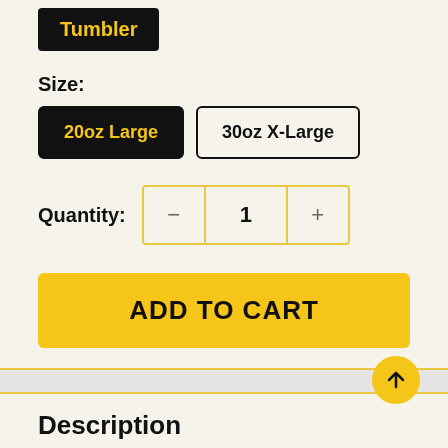Tumbler
Size:
20oz Large
30oz X-Large
Quantity: 1
ADD TO CART
Description
Taking your hot or cold drinks on-the-go has never been easier thanks to the Tumbler. This trendy, sturdy